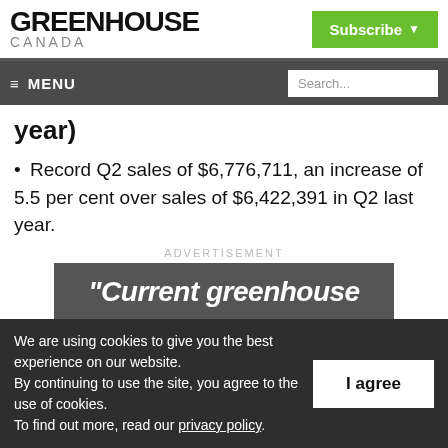GREENHOUSE CANADA
Subscribe ▾
≡ MENU | Search...
year)
Record Q2 sales of $6,776,711, an increase of 5.5 per cent over sales of $6,422,391 in Q2 last year.
ADVERTISEMENT
[Figure (photo): Advertisement image showing text 'Current greenhouse' over a dark greenhouse background]
We are using cookies to give you the best experience on our website. By continuing to use the site, you agree to the use of cookies. To find out more, read our privacy policy.